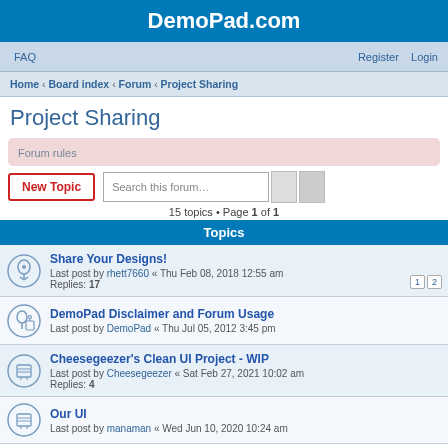DemoPad.com
FAQ   Register   Login
Home · Board index · Forum · Project Sharing
Project Sharing
Forum rules
New Topic   Search this forum…
15 topics • Page 1 of 1
Topics
Share Your Designs!
Last post by rhett7660 « Thu Feb 08, 2018 12:55 am
Replies: 17
DemoPad Disclaimer and Forum Usage
Last post by DemoPad « Thu Jul 05, 2012 3:45 pm
Cheesegeezer's Clean UI Project - WIP
Last post by Cheesegeezer « Sat Feb 27, 2021 10:02 am
Replies: 4
Our UI
Last post by manaman « Wed Jun 10, 2020 10:24 am